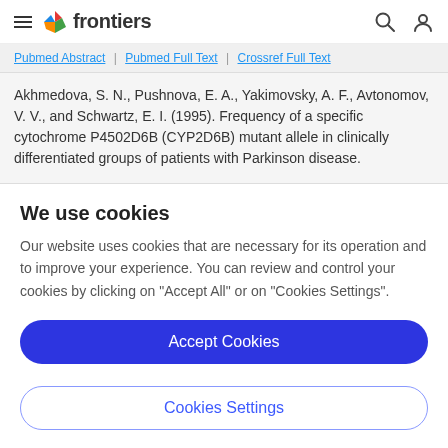frontiers
Pubmed Abstract | Pubmed Full Text | Crossref Full Text
Akhmedova, S. N., Pushnova, E. A., Yakimovsky, A. F., Avtonomov, V. V., and Schwartz, E. I. (1995). Frequency of a specific cytochrome P4502D6B (CYP2D6B) mutant allele in clinically differentiated groups of patients with Parkinson disease.
We use cookies
Our website uses cookies that are necessary for its operation and to improve your experience. You can review and control your cookies by clicking on "Accept All" or on "Cookies Settings".
Accept Cookies
Cookies Settings